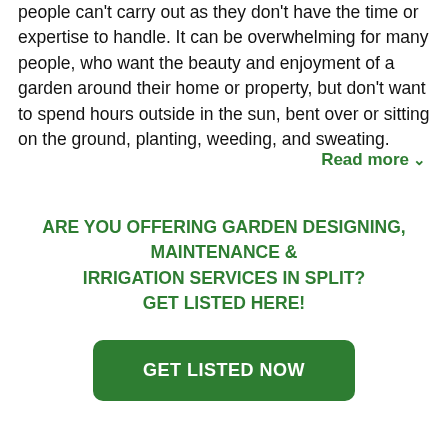people can't carry out as they don't have the time or expertise to handle. It can be overwhelming for many people, who want the beauty and enjoyment of a garden around their home or property, but don't want to spend hours outside in the sun, bent over or sitting on the ground, planting, weeding, and sweating.
Read more ∨
ARE YOU OFFERING GARDEN DESIGNING, MAINTENANCE & IRRIGATION SERVICES IN SPLIT? GET LISTED HERE!
GET LISTED NOW